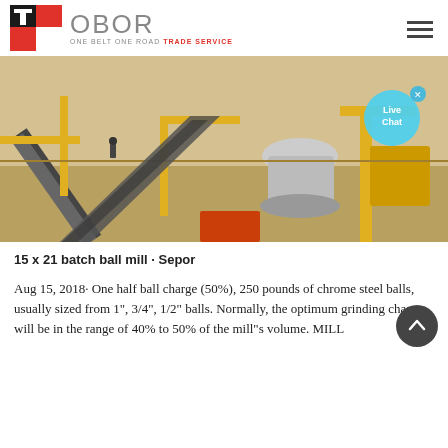[Figure (logo): OBOR (One Belt One Road Trade Service) logo with red and black TS icon and gray OBOR text]
[Figure (photo): Industrial mining/crushing plant with yellow conveyor belts, machinery, and a cone crusher. A 'Live Chat' bubble overlay is visible in the top-right area of the image.]
15 x 21 batch ball mill - Sepor
Aug 15, 2018· One half ball charge (50%), 250 pounds of chrome steel balls, usually sized from 1", 3/4", 1/2" balls. Normally, the optimum grinding charge will be in the range of 40% to 50% of the mill"s volume. MILL